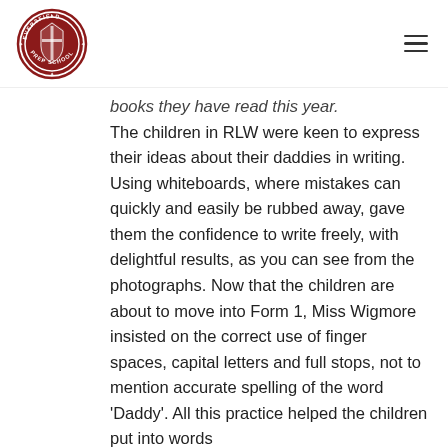Eversfield Prep School
books they have read this year.
The children in RLW were keen to express their ideas about their daddies in writing. Using whiteboards, where mistakes can quickly and easily be rubbed away, gave them the confidence to write freely, with delightful results, as you can see from the photographs. Now that the children are about to move into Form 1, Miss Wigmore insisted on the correct use of finger spaces, capital letters and full stops, not to mention accurate spelling of the word 'Daddy'. All this practice helped the children put into words